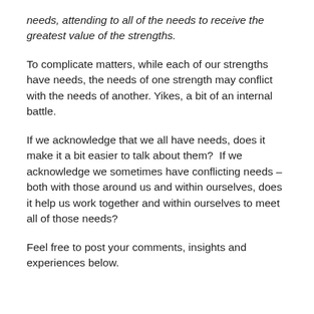needs, attending to all of the needs to receive the greatest value of the strengths.
To complicate matters, while each of our strengths have needs, the needs of one strength may conflict with the needs of another. Yikes, a bit of an internal battle.
If we acknowledge that we all have needs, does it make it a bit easier to talk about them?  If we acknowledge we sometimes have conflicting needs – both with those around us and within ourselves, does it help us work together and within ourselves to meet all of those needs?
Feel free to post your comments, insights and experiences below.